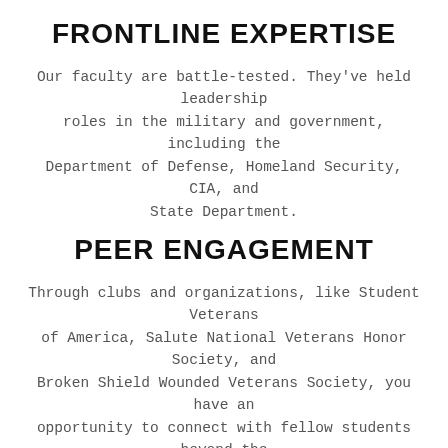FRONTLINE EXPERTISE
Our faculty are battle-tested. They've held leadership roles in the military and government, including the Department of Defense, Homeland Security, CIA, and State Department.
PEER ENGAGEMENT
Through clubs and organizations, like Student Veterans of America, Salute National Veterans Honor Society, and Broken Shield Wounded Veterans Society, you have an opportunity to connect with fellow students beyond the classroom.